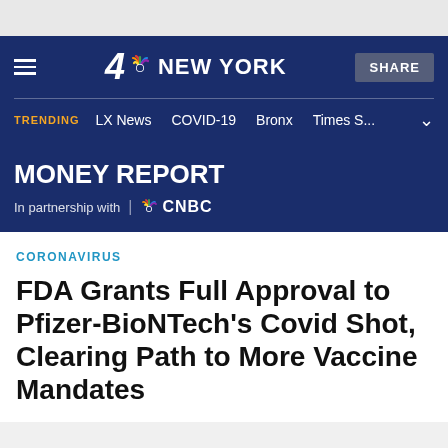4 NBC NEW YORK | SHARE | TRENDING | LX News | COVID-19 | Bronx | Times S...
MONEY REPORT
In partnership with | NBC CNBC
CORONAVIRUS
FDA Grants Full Approval to Pfizer-BioNTech's Covid Shot, Clearing Path to More Vaccine Mandates